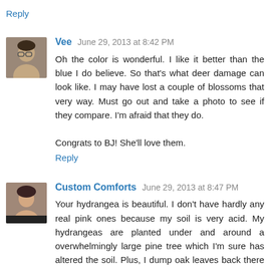Reply
[Figure (photo): Avatar photo of commenter Vee]
Vee  June 29, 2013 at 8:42 PM
Oh the color is wonderful. I like it better than the blue I do believe. So that's what deer damage can look like. I may have lost a couple of blossoms that very way. Must go out and take a photo to see if they compare. I'm afraid that they do.

Congrats to BJ! She'll love them.
Reply
[Figure (photo): Avatar photo of commenter Custom Comforts]
Custom Comforts  June 29, 2013 at 8:47 PM
Your hydrangea is beautiful. I don't have hardly any real pink ones because my soil is very acid. My hydrangeas are planted under and around a overwhelmingly large pine tree which I'm sure has altered the soil. Plus, I dump oak leaves back there in the fall. If you ever want oak leaves to try acidify your soil, just let me know in the fall. We have tons